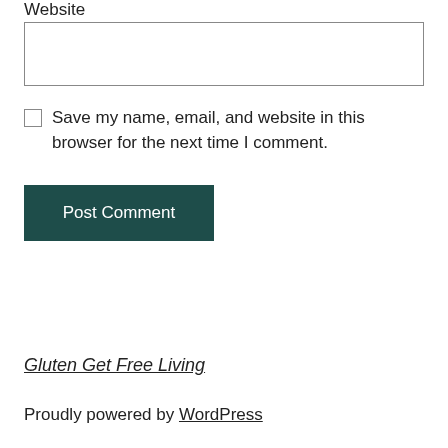Website
[Figure (screenshot): A text input field (form element) for entering a website URL]
Save my name, email, and website in this browser for the next time I comment.
[Figure (screenshot): A Post Comment button with dark teal background]
Gluten Get Free Living
Proudly powered by WordPress